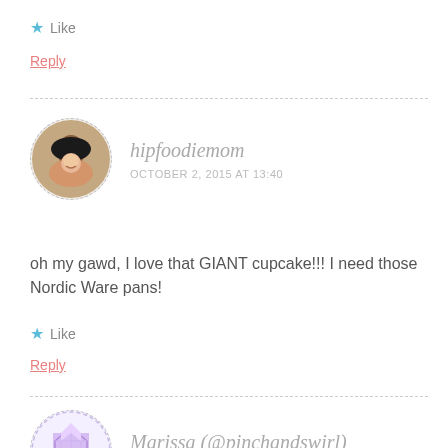★ Like
Reply
hipfoodiemom — OCTOBER 2, 2015 AT 13:40
oh my gawd, I love that GIANT cupcake!!! I need those Nordic Ware pans!
★ Like
Reply
Marissa (@pinchandswirl) — OCTOBER 4, 2015 AT 21:28